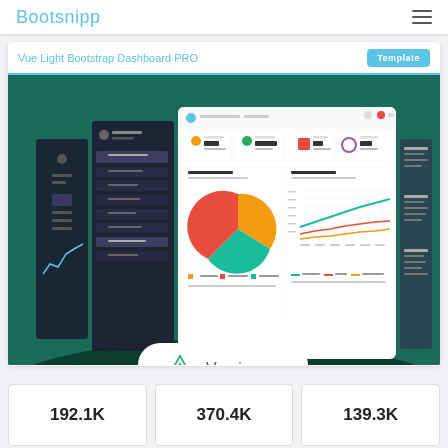Bootsnipp
Vue Light Bootstrap Dashboard PRO
[Figure (screenshot): Vue Light Bootstrap Dashboard PRO template screenshot showing a dark-themed sidebar navigation with a white dashboard panel featuring a pie chart (Email Statistics) and a multi-line chart (Users Behavior), plus a Vue.js logo badge at bottom. Background is dark green.]
192.1K
370.4K
139.3K